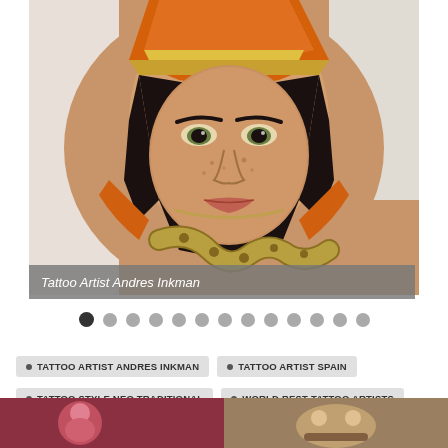[Figure (photo): Close-up photo of a tattoo on a forearm depicting a woman's face wearing an orange and gold decorative hat/headpiece, with a snake visible below, in a neo-traditional tattoo style. The tattoo shows detailed realistic facial features with freckles and dark hair.]
Tattoo Artist Andres Inkman
• TATTOO ARTIST ANDRES INKMAN
• TATTOO ARTIST SPAIN
• TATTOO STYLE NEO TRADITIONAL
• WORLD BEST TATTOO ARTISTS
[Figure (photo): Bottom strip showing partial images of two more tattoos side by side — left image appears to show red/pink tones, right image shows skull or animal skull elements in earthy tones.]